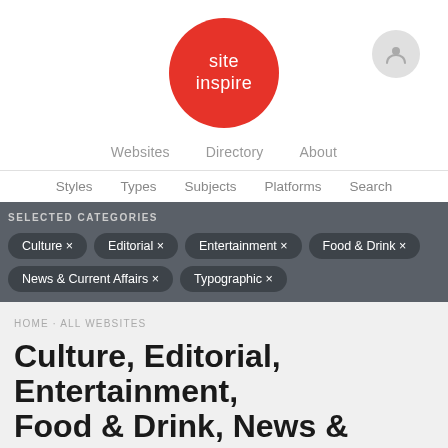[Figure (logo): Site Inspire logo — red circle with white text 'site inspire']
Websites   Directory   About
Styles   Types   Subjects   Platforms   Search
SELECTED CATEGORIES
Culture ×
Editorial ×
Entertainment ×
Food & Drink ×
News & Current Affairs ×
Typographic ×
HOME · ALL WEBSITES
Culture, Editorial, Entertainment, Food & Drink, News & Current Affairs, and Typographic websites